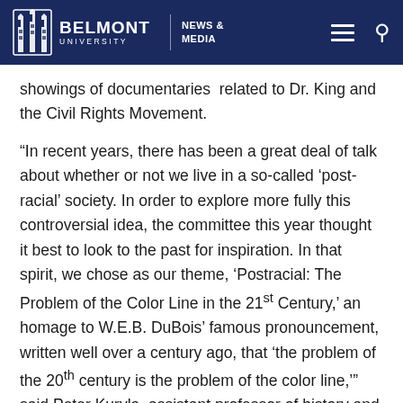BELMONT UNIVERSITY | NEWS & MEDIA
showings of documentaries  related to Dr. King and the Civil Rights Movement.
“In recent years, there has been a great deal of talk about whether or not we live in a so-called ‘post-racial’ society. In order to explore more fully this controversial idea, the committee this year thought it best to look to the past for inspiration. In that spirit, we chose as our theme, ‘Postracial: The Problem of the Color Line in the 21st Century,’ an homage to W.E.B. DuBois’ famous pronouncement, written well over a century ago, that ‘the problem of the 20th century is the problem of the color line,’” said Peter Kuryla, assistant professor of history and chairman of Belmont’s 2014 Martin Luther King Jr. Commemorative Committee. “So recalling DuBois and in keeping with Dr. King’s prophetic social vision,